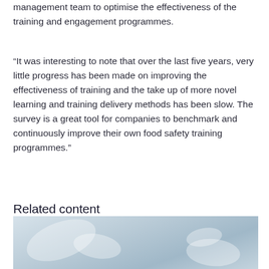management team to optimise the effectiveness of the training and engagement programmes.
“It was interesting to note that over the last five years, very little progress has been made on improving the effectiveness of training and the take up of more novel learning and training delivery methods has been slow. The survey is a great tool for companies to benchmark and continuously improve their own food safety training programmes.”
Related content
[Figure (photo): Partial photo showing blurred industrial or food processing equipment in light blue/grey tones]